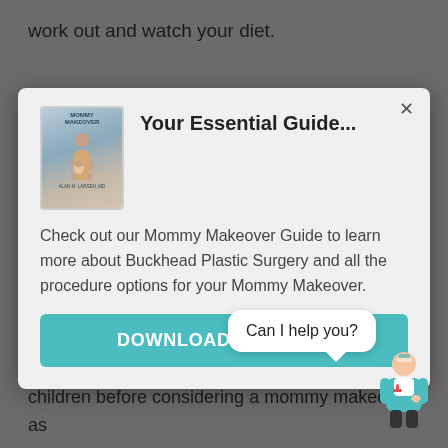work out and watch your diet.
[Figure (screenshot): Modal popup dialog with a Mommy Makeover guide book cover image, title 'Your Essential Guide...', descriptive text, and a teal download button.]
combination of surgeries chosen by you and Dr. Larsen that targets those areas of concern caused by having children. It is best that you are done having children before considering a mommy makeover, as
[Figure (other): Chat bubble saying 'Can I help you?' with a cartoon doctor icon.]